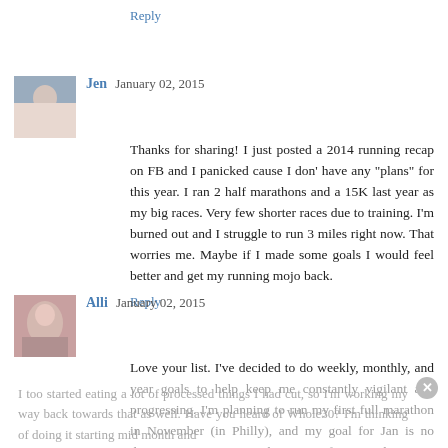Reply
Jen  January 02, 2015
Thanks for sharing! I just posted a 2014 running recap on FB and I panicked cause I don' have any "plans" for this year. I ran 2 half marathons and a 15K last year as my big races. Very few shorter races due to training. I'm burned out and I struggle to run 3 miles right now. That worries me. Maybe if I made some goals I would feel better and get my running mojo back.
Reply
Alli  January 02, 2015
Love your list. I've decided to do weekly, monthly, and year goals to help keep me constantly vigilant and progressing. I'm planning to run my first full marathon in November (in Philly), and my goal for Jan is no desserts. 2014 was a tough WL year for me and
I too started eating a lot of processed things I had cut, so I'm working my way back towards that as well. Have you heard of Whole30? I'm thinking of doing it starting mid month and